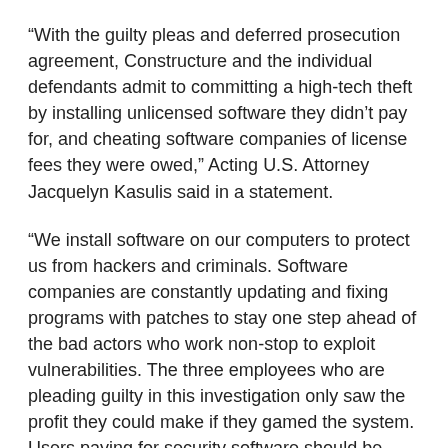“With the guilty pleas and deferred prosecution agreement, Constructure and the individual defendants admit to committing a high-tech theft by installing unlicensed software they didn’t pay for, and cheating software companies of license fees they were owed,” Acting U.S. Attorney Jacquelyn Kasulis said in a statement.
“We install software on our computers to protect us from hackers and criminals. Software companies are constantly updating and fixing programs with patches to stay one step ahead of the bad actors who work non-stop to exploit vulnerabilities. The three employees who are pleading guilty in this investigation only saw the profit they could make if they gamed the system. Users paying for security software should be able to rely on the legitimacy of it,” FBI Assistant Director-in-Charge Michael Driscoll said in a statement.